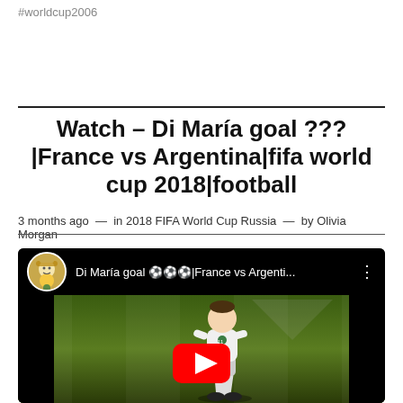#worldcup2006
Watch – Di María goal ???|France vs Argentina|fifa world cup 2018|football
3 months ago  —  in 2018 FIFA World Cup Russia  —  by Olivia Morgan
[Figure (screenshot): YouTube video thumbnail showing Di María goal ???|France vs Argenti... with a soccer player on a grass field, YouTube play button visible at bottom center, dark bars on left and right sides.]